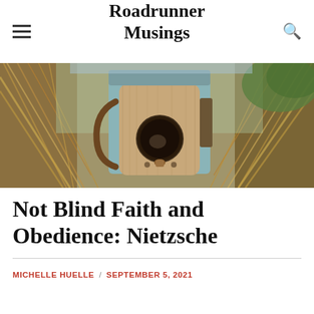Roadrunner Musings
[Figure (photo): Close-up photo of a wooden birdhouse with a circular entry hole, surrounded by dried grass or straw. The birdhouse appears weathered and rustic with light blue and brown wood elements. A small bird may be visible inside the hole. Background includes dried reeds and some green foliage.]
Not Blind Faith and Obedience: Nietzsche
MICHELLE HUELLE / SEPTEMBER 5, 2021